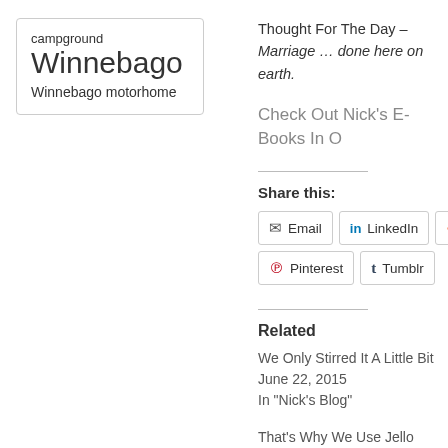campground Winnebago
Winnebago motorhome
Thought For The Day – Marriage … done here on earth.
Check Out Nick's E-Books In O
Share this:
Email  LinkedIn  Red…  Pinterest  Tumblr
Related
We Only Stirred It A Little Bit
June 22, 2015
In "Nick's Blog"
That's Why We Use Jello
February 26, 2013
In "Nick's Blog"